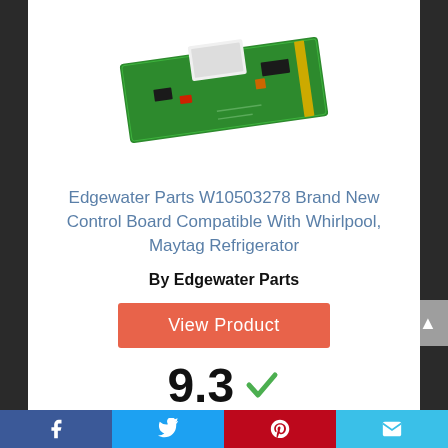[Figure (photo): Green circuit control board with white connector and components, shown at an angle on a white background]
Edgewater Parts W10503278 Brand New Control Board Compatible With Whirlpool, Maytag Refrigerator
By Edgewater Parts
View Product
9.3 ✓
Score
Facebook | Twitter | Pinterest | Email